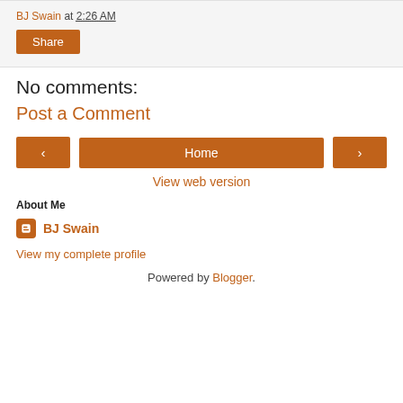BJ Swain at 2:26 AM
Share
No comments:
Post a Comment
‹  Home  ›
View web version
About Me
BJ Swain
View my complete profile
Powered by Blogger.